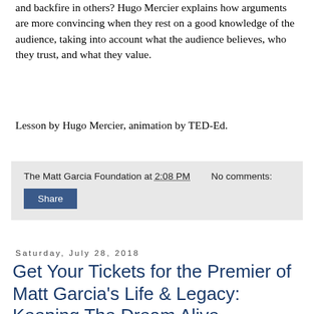and backfire in others? Hugo Mercier explains how arguments are more convincing when they rest on a good knowledge of the audience, taking into account what the audience believes, who they trust, and what they value.
Lesson by Hugo Mercier, animation by TED-Ed.
The Matt Garcia Foundation at 2:08 PM    No comments:
Share
Saturday, July 28, 2018
Get Your Tickets for the Premier of Matt Garcia's Life & Legacy: Keeping The Dream Alive
[Figure (photo): Portrait photo of a man with dark hair against a gray background]